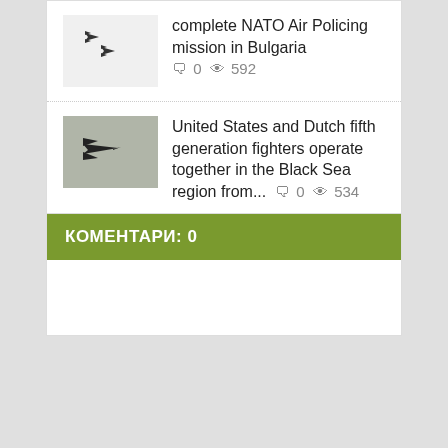complete NATO Air Policing mission in Bulgaria  🗨 0  👁 592
United States and Dutch fifth generation fighters operate together in the Black Sea region from...  🗨 0  👁 534
КОМЕНТАРИ: 0